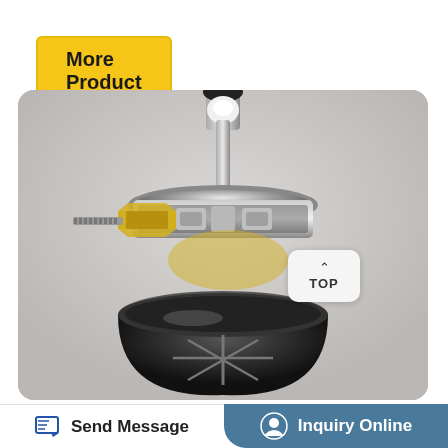More Product
[Figure (photo): Close-up photograph of a 1lb BHO Extractor device showing stainless steel clamp ring, brass fittings, bolts, and a dark collection bowl component]
1lb BHO Extractor Israel –
Send Message
Inquiry Online